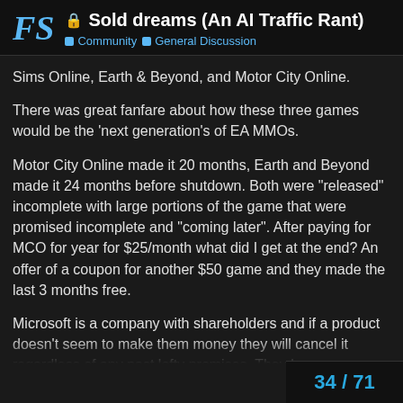🔒 Sold dreams (An AI Traffic Rant) — Community > General Discussion
Sims Online, Earth & Beyond, and Motor City Online.
There was great fanfare about how these three games would be the 'next generation's of EA MMOs.
Motor City Online made it 20 months, Earth and Beyond made it 24 months before shutdown. Both were "released" incomplete with large portions of the game that were promised incomplete and "coming later". After paying for MCO for year for $25/month what did I get at the end? An offer of a coupon for another $50 game and they made the last 3 months free.
Microsoft is a company with shareholders and if a product doesn't seem to make them money they will cancel it regardless of any past lofty promises. They have no contractual obligations once they have our money.
And because FS2020 is so tied to many online service, when they kill it - it will be dead dead. It won't ev... community mods like FSX.
34 / 71